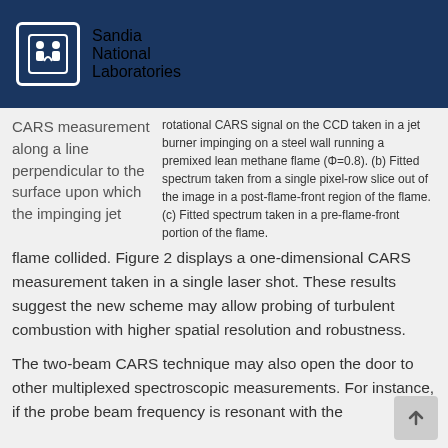Sandia National Laboratories
CARS measurement along a line perpendicular to the surface upon which the impinging jet flame collided. Figure 2 displays a one-dimensional CARS measurement taken in a single laser shot. These results suggest the new scheme may allow probing of turbulent combustion with higher spatial resolution and robustness.
rotational CARS signal on the CCD taken in a jet burner impinging on a steel wall running a premixed lean methane flame (Φ=0.8). (b) Fitted spectrum taken from a single pixel-row slice out of the image in a post-flame-front region of the flame. (c) Fitted spectrum taken in a pre-flame-front portion of the flame.
The two-beam CARS technique may also open the door to other multiplexed spectroscopic measurements. For instance, if the probe beam frequency is resonant with the